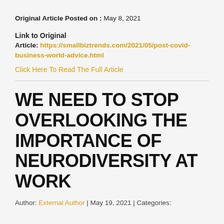Original Article Posted on : May 8, 2021
Link to Original Article: https://smallbiztrends.com/2021/05/post-covid-business-world-advice.html
Click Here To Read The Full Article
WE NEED TO STOP OVERLOOKING THE IMPORTANCE OF NEURODIVERSITY AT WORK
Author: External Author | May 19, 2021 | Categories: